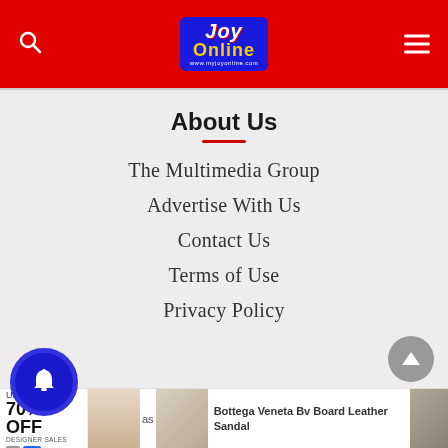JOY Online
About Us
The Multimedia Group
Advertise With Us
Contact Us
Terms of Use
Privacy Policy
[Figure (other): Notification bell button (blue circle with white bell icon)]
[Figure (other): Scroll to top button (grey circle with white up arrow)]
[Figure (other): Advertisement banner: GILT UP TO 70% OFF DESIGNER SALES — Bottega Veneta Bv Board Leather Sandal]